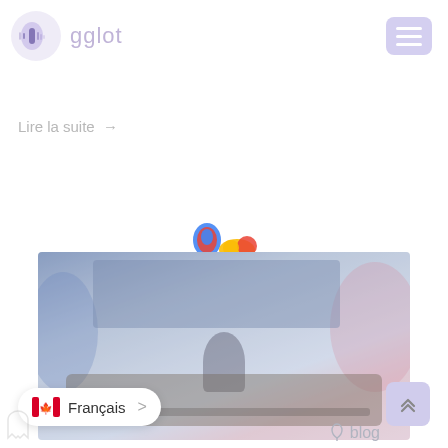[Figure (logo): gglot logo: circular icon with microphone and sound wave graphic in purple/blue tones, with text 'gglot' in light purple]
[Figure (other): Hamburger menu button in light purple/lavender rounded rectangle with three white horizontal lines]
Lire la suite →
[Figure (other): Two animated loading dots: left dot blue/red teardrop shape, right dot orange/red rounded shape on yellow tail — Google Translate style loading indicator]
[Figure (photo): Recording studio interior: person seated at mixing console, large monitor screen in background, blue and pink ambient lighting]
Français >
[Figure (other): Scroll-to-top button: light purple rounded square with double upward chevron arrows]
blog